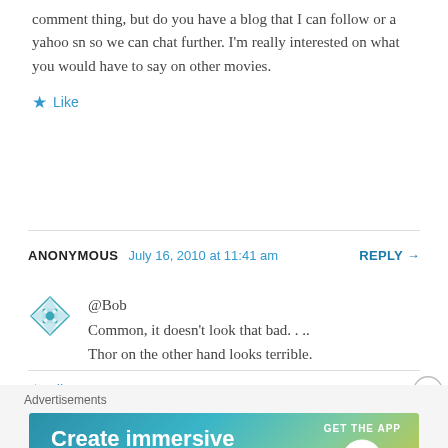comment thing, but do you have a blog that I can follow or a yahoo sn so we can chat further. I'm really interested on what you would have to say on other movies.
Like
ANONYMOUS   July 16, 2010 at 11:41 am   REPLY →
@Bob
Common, it doesn't look that bad. . ..
Thor on the other hand looks terrible.
Like
Advertisements
[Figure (other): WordPress advertisement banner: 'Create immersive stories.' with GET THE APP and WordPress logo]